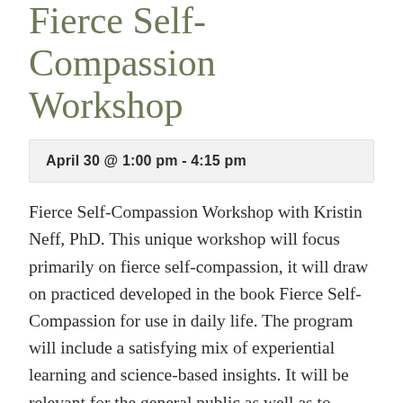Fierce Self-Compassion Workshop
April 30 @ 1:00 pm - 4:15 pm
Fierce Self-Compassion Workshop with Kristin Neff, PhD. This unique workshop will focus primarily on fierce self-compassion, it will draw on practiced developed in the book Fierce Self-Compassion for use in daily life. The program will include a satisfying mix of experiential learning and science-based insights. It will be relevant for the general public as well as to practicing mental health professionals.